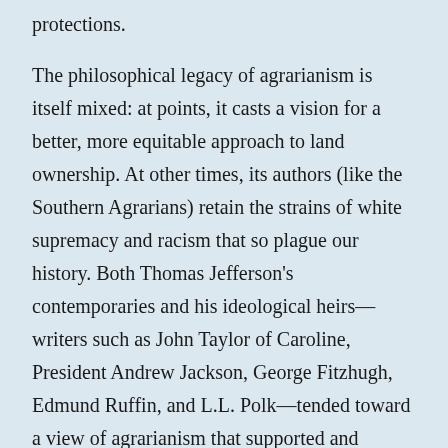protections. The philosophical legacy of agrarianism is itself mixed: at points, it casts a vision for a better, more equitable approach to land ownership. At other times, its authors (like the Southern Agrarians) retain the strains of white supremacy and racism that so plague our history. Both Thomas Jefferson's contemporaries and his ideological heirs—writers such as John Taylor of Caroline, President Andrew Jackson, George Fitzhugh, Edmund Ruffin, and L.L. Polk—tended toward a view of agrarianism that supported and applauded white farmers, while ignoring (or engaging in